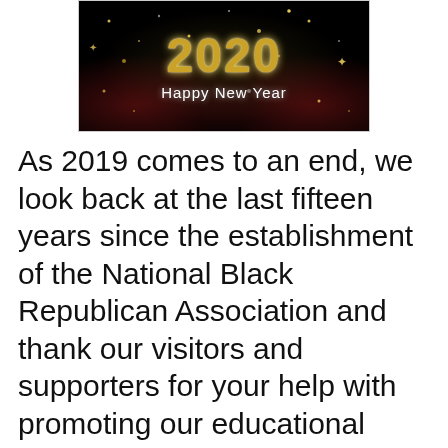[Figure (illustration): Happy New Year 2020 banner image with gold glittery text on a black background with gold sparkles and red decorations at the corners]
As 2019 comes to an end, we look back at the last fifteen years since the establishment of the National Black Republican Association and thank our visitors and supporters for your help with promoting our educational campaign designed to enlighten our fellow citizens about the true history of civil rights and current events that impact the lives